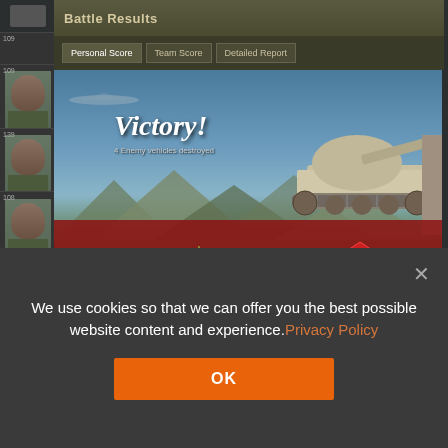[Figure (screenshot): World of Tanks game screenshot showing Battle Results screen with 'Victory!' banner, a tank image on the right, and score results showing 22,431 XP and 2,283 credits. The interface has tabs for Personal Score, Team Score, and Detailed Report. Left side shows soldier/player avatars with rank numbers. Red results bar at bottom shows medals and score values.]
We use cookies so that we can offer you the best possible website content and experience. Privacy Policy
OK